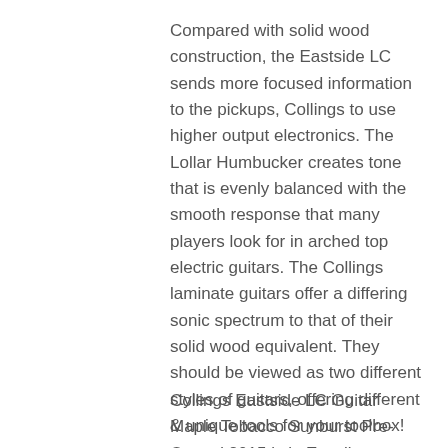Compared with solid wood construction, the Eastside LC sends more focused information to the pickups, Collings to use higher output electronics. The Lollar Humbucker creates tone that is evenly balanced with the smooth response that many players look for in arched top electric guitars. The Collings laminate guitars offer a differing sonic spectrum to that of their solid wood equivalent. They should be viewed as two different styles of guitars, offering different & unique tools for your toolbox!
Collings Eastside LC Guitar Maple Tobacco Sunburst Pre-Owned 2015 is in Excellent Condition with a few things to note. There is some light scratches around the horn of the guitar as well as 1 small ding on the top. The